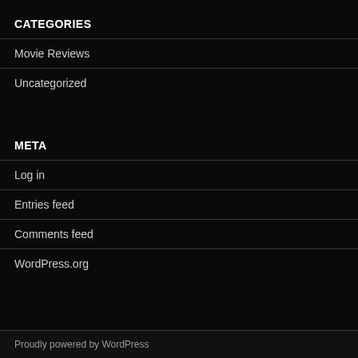CATEGORIES
Movie Reviews
Uncategorized
META
Log in
Entries feed
Comments feed
WordPress.org
Proudly powered by WordPress